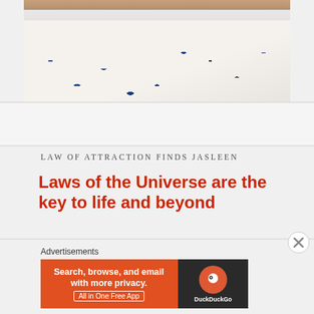[Figure (photo): Partial photo of a woman wearing a white floral dress with blue and brown print, cropped at neck/shoulder level. Background shows orange/brown and green elements.]
LAW OF ATTRACTION FINDS JASLEEN
Laws of the Universe are the key to life and beyond
Advertisements
[Figure (screenshot): DuckDuckGo advertisement banner: orange left panel reading 'Search, browse, and email with more privacy. All in One Free App' and dark right panel with DuckDuckGo logo.]